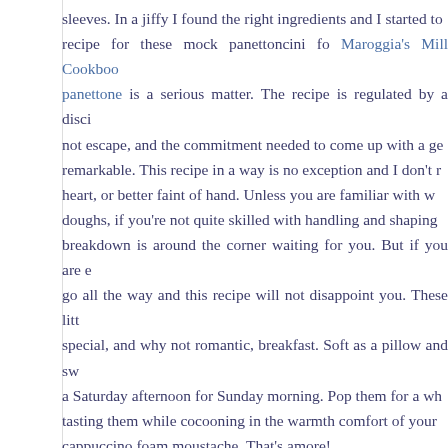sleeves. In a jiffy I found the right ingredients and I started to recipe for these mock panettoncini fo Maroggia's Mill Cookbook panettone is a serious matter. The recipe is regulated by a disci not escape, and the commitment needed to come up with a ge remarkable. This recipe in a way is no exception and I don't r heart, or better faint of hand. Unless you are familiar with w doughs, if you're not quite skilled with handling and shaping breakdown is around the corner waiting for you. But if you are e go all the way and this recipe will not disappoint you. These litt special, and why not romantic, breakfast. Soft as a pillow and sw a Saturday afternoon for Sunday morning. Pop them for a wh tasting them while cocooning in the warmth comfort of your cappuccino foam moustache. That's amore!
Continue reading / Continua a leggere…
INVIATO SU MENU, RECIPES / RICETTE | TAG ARANCIA CANDITA, BAKING, CANDIED ORANGE PEEL, CIOCCOLATO FONDENTE, COLAZIONE, DARK CH